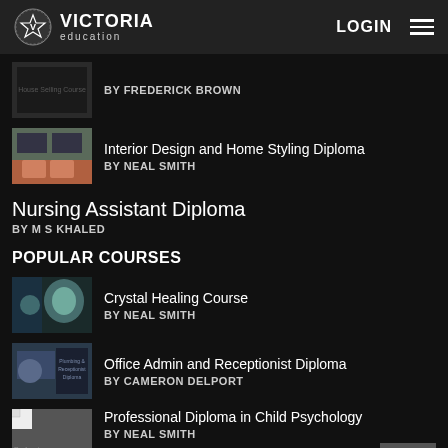VICTORIA education — LOGIN
BY FREDERICK BROWN
Interior Design and Home Styling Diploma — BY NEAL SMITH
Nursing Assistant Diploma — BY M S KHALED
POPULAR COURSES
Crystal Healing Course — BY NEAL SMITH
Office Admin and Receptionist Diploma — BY CAMERON DELPORT
Professional Diploma in Child Psychology — BY NEAL SMITH
IMPORTANT LINKS